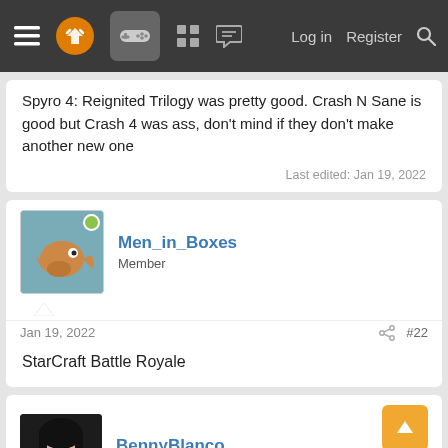Navigation bar with menu, logo, gamepad icon, grid, chat, Log in, Register, Search
Spyro 4: Reignited Trilogy was pretty good. Crash N Sane is good but Crash 4 was ass, don't mind if they don't make another new one
Last edited: Jan 19, 2022
Men_in_Boxes
Member
Jan 19, 2022  #22
StarCraft Battle Royale
BennyBlanco
aka IMurRIVAL69
Jan 19, 2022  #23